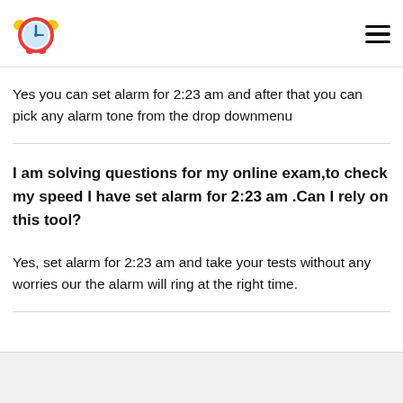[Figure (logo): Alarm clock emoji logo — pink/red alarm clock with blue clock face and yellow bells]
Yes you can set alarm for 2:23 am and after that you can pick any alarm tone from the drop downmenu
I am solving questions for my online exam,to check my speed I have set alarm for 2:23 am .Can I rely on this tool?
Yes, set alarm for 2:23 am and take your tests without any worries our the alarm will ring at the right time.